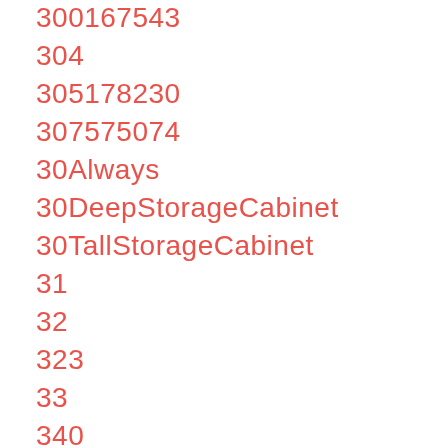300167543
304
305178230
307575074
30Always
30DeepStorageCabinet
30TallStorageCabinet
31
32
323
33
340
36InchDeutscheGr
36InchWievielCm